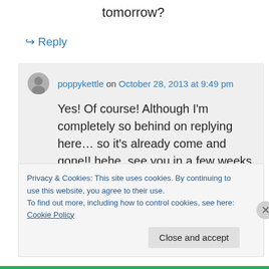tomorrow?
↳ Reply
poppykettle on October 28, 2013 at 9:49 pm
Yes! Of course! Although I'm completely so behind on replying here… so it's already come and gone!! hehe, see you in a few weeks time to do it all over again! :D
Privacy & Cookies: This site uses cookies. By continuing to use this website, you agree to their use.
To find out more, including how to control cookies, see here: Cookie Policy